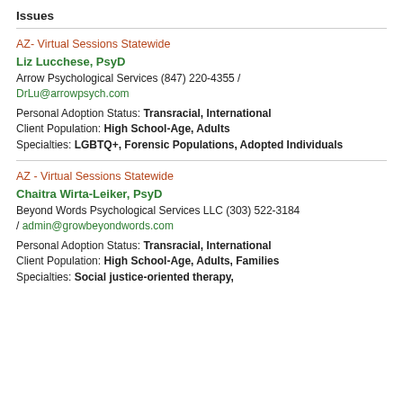Issues
AZ- Virtual Sessions Statewide
Liz Lucchese, PsyD
Arrow Psychological Services (847) 220-4355 / DrLu@arrowpsych.com
Personal Adoption Status: Transracial, International
Client Population: High School-Age, Adults
Specialties: LGBTQ+, Forensic Populations, Adopted Individuals
AZ - Virtual Sessions Statewide
Chaitra Wirta-Leiker, PsyD
Beyond Words Psychological Services LLC (303) 522-3184 / admin@growbeyondwords.com
Personal Adoption Status: Transracial, International
Client Population: High School-Age, Adults, Families
Specialties: Social justice-oriented therapy,